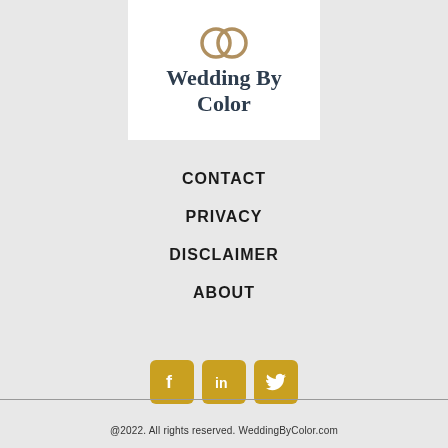[Figure (logo): Wedding By Color logo with two interlocked rings above serif text reading 'Wedding By Color']
CONTACT
PRIVACY
DISCLAIMER
ABOUT
[Figure (infographic): Three gold social media icon buttons: Facebook, LinkedIn, Twitter]
@2022. All rights reserved. WeddingByColor.com